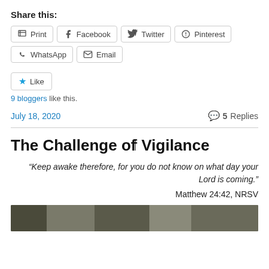Share this:
Print | Facebook | Twitter | Pinterest | WhatsApp | Email
Like
9 bloggers like this.
July 18, 2020    💬 5 Replies
The Challenge of Vigilance
“Keep awake therefore, for you do not know on what day your Lord is coming.” Matthew 24:42, NRSV
[Figure (photo): A photograph strip at the bottom of the page, partially visible]